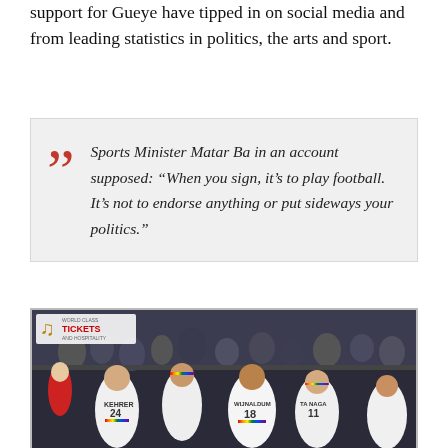support for Gueye have tipped in on social media and from leading statistics in politics, the arts and sport.
Sports Minister Matar Ba in an account supposed: “When you sign, it’s to play football. It’s not to endorse anything or put sideways your politics.”
[Figure (photo): Football players in white PSG jerseys with rainbow-colored numbers celebrating on the pitch, with crowd in background. Players visible include KEHRER (24), WIJNALDUM (18). A tickets and hospitality watermark badge is visible in the top-left corner.]